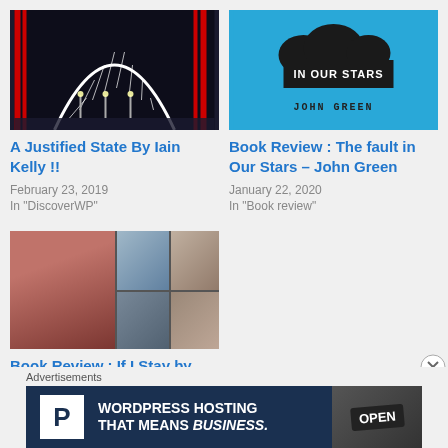[Figure (photo): Night photo of arch bridge with city lights]
A Justified State By Iain Kelly !!
February 23, 2019
In "DiscoverWP"
[Figure (photo): Book cover of 'The Fault in Our Stars' by John Green - blue background with dark cloud shape and white text]
Book Review : The fault in Our Stars – John Green
January 22, 2020
In "Book review"
[Figure (photo): Collage of images for 'If I Stay' book review]
Book Review : If I Stay by Gayle
Advertisements
[Figure (other): WordPress Hosting advertisement banner - dark blue background with P logo and text: WORDPRESS HOSTING THAT MEANS BUSINESS.]